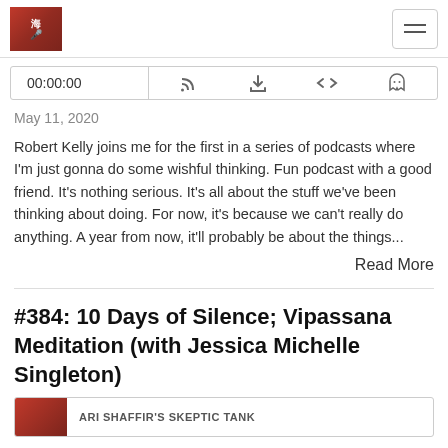Ari Shaffir's Skeptic Tank — logo and navigation
00:00:00
May 11, 2020
Robert Kelly joins me for the first in a series of podcasts where I'm just gonna do some wishful thinking. Fun podcast with a good friend. It's nothing serious. It's all about the stuff we've been thinking about doing. For now, it's because we can't really do anything. A year from now, it'll probably be about the things...
Read More
#384: 10 Days of Silence; Vipassana Meditation (with Jessica Michelle Singleton)
ARI SHAFFIR'S SKEPTIC TANK